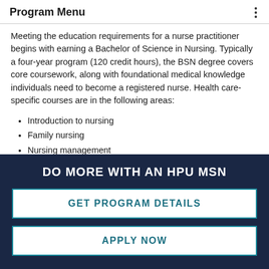Program Menu
Meeting the education requirements for a nurse practitioner begins with earning a Bachelor of Science in Nursing. Typically a four-year program (120 credit hours), the BSN degree covers core coursework, along with foundational medical knowledge individuals need to become a registered nurse. Health care-specific courses are in the following areas:
Introduction to nursing
Family nursing
Nursing management
Nursing leadership (partial/truncated)
DO MORE WITH AN HPU MSN
GET PROGRAM DETAILS
APPLY NOW